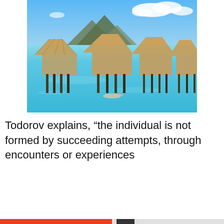[Figure (photo): Tropical overwater bungalows with thatched roofs on turquoise lagoon water, mountains in background, person snorkeling in foreground]
Todorov explains, “the individual is not formed by succeeding attempts, through encounters or experiences
Privacy & Cookies: This site uses cookies. By continuing to use this website, you agree to their use.
To find out more, including how to control cookies, see here: Cookie Policy
Close and accept